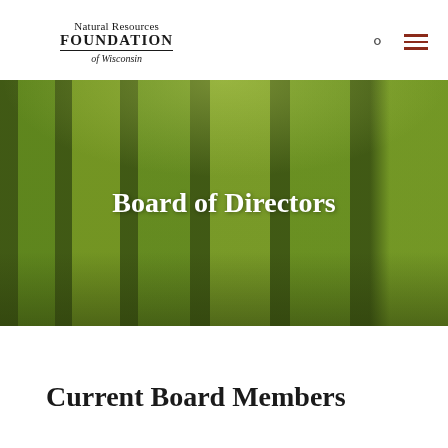Natural Resources Foundation of Wisconsin
[Figure (photo): Forest scene with tall trees and green leafy canopy, used as hero background image with text 'Board of Directors' overlaid in white bold text]
Board of Directors
Current Board Members